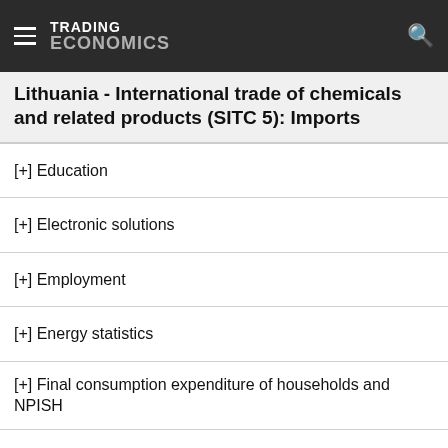TRADING ECONOMICS
Lithuania - International trade of chemicals and related products (SITC 5): Imports
[+] Education
[+] Electronic solutions
[+] Employment
[+] Energy statistics
[+] Final consumption expenditure of households and NPISH
[+] Financial sector liabilities
[+] GDP and main components
[+] Health